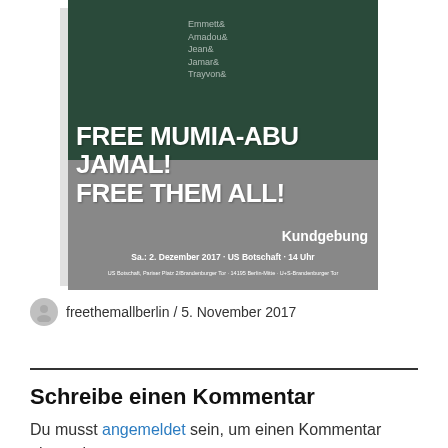[Figure (photo): Event poster with dark green and gray background. Text reads: FREE MUMIA-ABU JAMAL! FREE THEM ALL! Kundgebung Sa.: 2. Dezember 2017 · US Botschaft · 14 Uhr. Names listed: Emmett&, Amadou&, Jean&, Jamar&, Trayvon&. Address: US Botschaft, Pariser Platz 2/Brandenburger Tor · 14195 Berlin-Mitte · U+S-Brandenburger Tor]
freethemallberlin / 5. November 2017
Schreibe einen Kommentar
Du musst angemeldet sein, um einen Kommentar abzugeben.